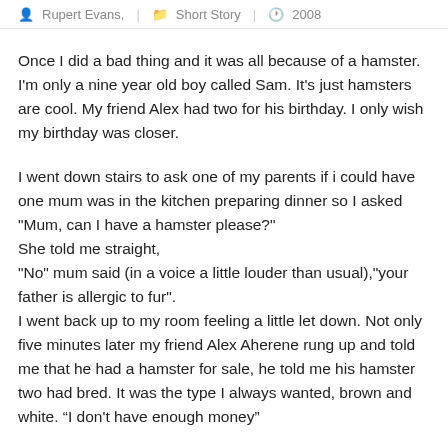Rupert Evans,  Short Story  2008
Once I did a bad thing and it was all because of a hamster. I'm only a nine year old boy called Sam. It's just hamsters are cool. My friend Alex had two for his birthday. I only wish my birthday was closer.
I went down stairs to ask one of my parents if i could have one mum was in the kitchen preparing dinner so I asked "Mum, can I have a hamster please?" She told me straight, "No" mum said (in a voice a little louder than usual),"your father is allergic to fur". I went back up to my room feeling a little let down. Not only five minutes later my friend Alex Aherene rung up and told me that he had a hamster for sale, he told me his hamster two had bred. It was the type I always wanted, brown and white. “I don't have enough money”